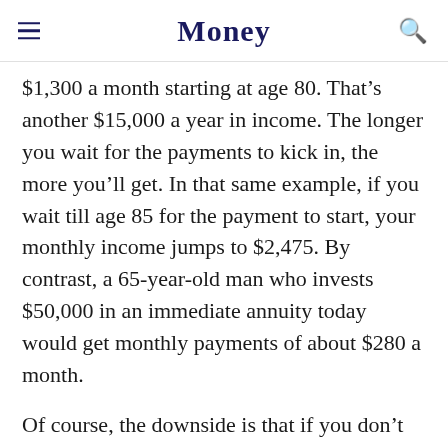Money
$1,300 a month starting at age 80. That's another $15,000 a year in income. The longer you wait for the payments to kick in, the more you'll get. In that same example, if you wait till age 85 for the payment to start, your monthly income jumps to $2,475. By contrast, a 65-year-old man who invests $50,000 in an immediate annuity today would get monthly payments of about $280 a month.
Of course, the downside is that if you don't make it to 85 or whatever age you select for